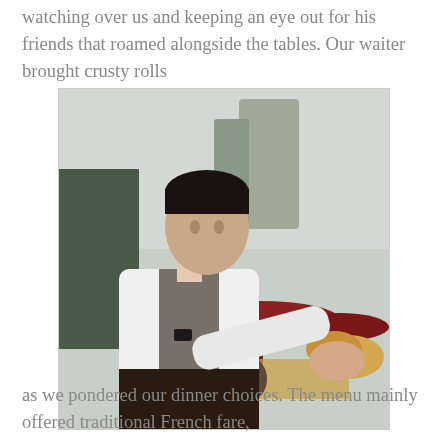watching over us and keeping an eye out for his friends that roamed alongside the tables. Our waiter brought crusty rolls
[Figure (photo): A young male waiter in a white shirt and dark trousers leans forward serving crusty bread rolls at an outdoor restaurant with red umbrellas and tall trees in the background.]
as we pondered our dinner choices. The menu mainly offered traditional French fare,